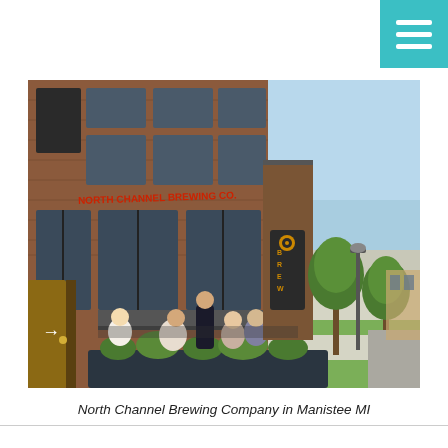[Figure (photo): Exterior photo of North Channel Brewing Company in Manistee, MI. A brick building with large windows and a red sign reading 'North Channel Brewing Co.' People are seated at outdoor tables on the sidewalk patio with planters full of greenery. A tree-lined sidewalk and street are visible in the background under a clear blue sky.]
North Channel Brewing Company in Manistee MI